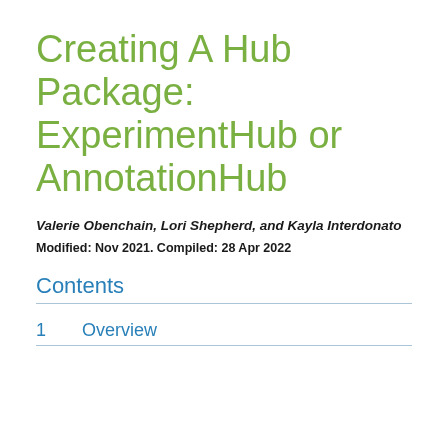Creating A Hub Package: ExperimentHub or AnnotationHub
Valerie Obenchain, Lori Shepherd, and Kayla Interdonato
Modified: Nov 2021. Compiled: 28 Apr 2022
Contents
1    Overview